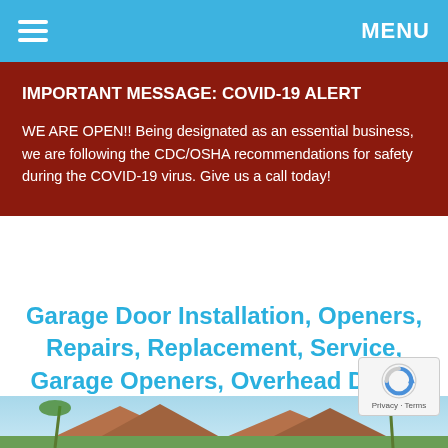MENU
IMPORTANT MESSAGE: COVID-19 ALERT
WE ARE OPEN!! Being designated as an essential business, we are following the CDC/OSHA recommendations for safety during the COVID-19 virus. Give us a call today!
Garage Door Installation, Openers, Repairs, Replacement, Service, Garage Openers, Overhead Doors and Roll Up Doors in Fort Lauderdale, Fl...
[Figure (photo): Photo of a house with a garage and palm trees in Fort Lauderdale, Florida]